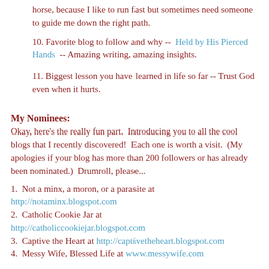horse, because I like to run fast but sometimes need someone to guide me down the right path.
10. Favorite blog to follow and why -- Held by His Pierced Hands -- Amazing writing, amazing insights.
11. Biggest lesson you have learned in life so far -- Trust God even when it hurts.
My Nominees:
Okay, here's the really fun part.  Introducing you to all the cool blogs that I recently discovered!  Each one is worth a visit.  (My apologies if your blog has more than 200 followers or has already been nominated.)  Drumroll, please...
1.  Not a minx, a moron, or a parasite at http://notaminx.blogspot.com
2.  Catholic Cookie Jar at http://catholiccookiejar.blogspot.com
3.  Captive the Heart at http://captivetheheart.blogspot.com
4.  Messy Wife, Blessed Life at www.messywife.com